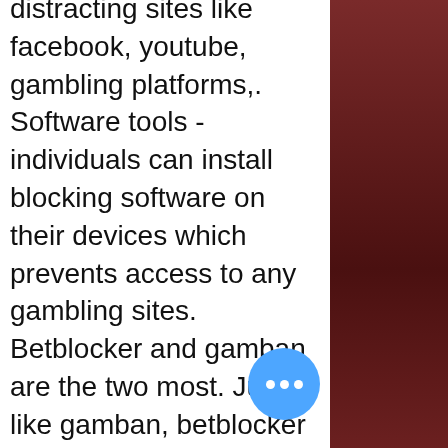distracting sites like facebook, youtube, gambling platforms,. Software tools - individuals can install blocking software on their devices which prevents access to any gambling sites. Betblocker and gamban are the two most. Just like gamban, betblocker is a gambling-related software that has been created and sponsored by casinos. To use betblocker, users must first. The uk tote's responsible gambling statement is available to view here. Gamblock: specific blocking software for gambling websites. How to find non-uk casino sites for uk players? Gamban provides software which runs on your computers, mobile phones and tablets to block gambling sites and apps. It normally costs £2. Try gamban for 7 days with our risk-free trial. Gamban is the single most powerful and cost-effective online gambling blocking app, offering full unlimited. Gamblock is a gambling blocking software that quickly and easily block gambling